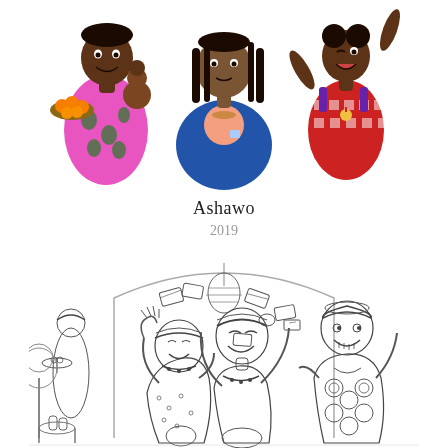[Figure (illustration): Three illustrated figures at the top: left - a woman in colorful pink/green African print dress holding a tray of oranges with a baby on her back; center - a woman in a blue blazer with braided hair; right - a young girl in a red checkered dress with arms raised in celebration.]
Ashawo
2019
[Figure (illustration): A black and white line drawing of a festive scene: a waiter on the left holding a tray, and three central figures celebrating - two women and a man in traditional African patterned attire, with money bills floating in the air and a disco ball hanging above them. The scene appears to be set in a nightclub or party venue.]